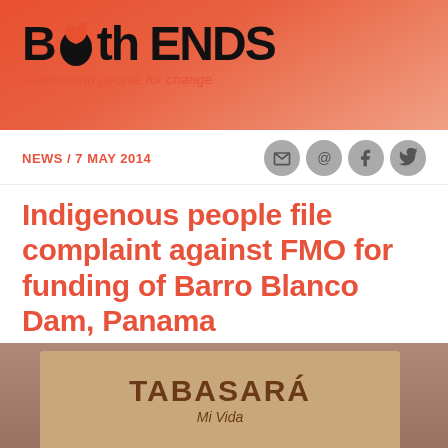[Figure (logo): Both ENDS logo with leaf/flame icon and tagline 'Connecting people for change' on orange-red gradient header]
NEWS / 7 MAY 2014
Indigenous people file complaint against FMO for funding of Barro Blanco Dam, Panama
[Figure (photo): Protesters holding a sign reading TABASARA and Mi Vida, with cookie consent banner overlay]
This website uses cookies to ensure you get the best experience on our website.
Learn more
Decline   Allow cookies